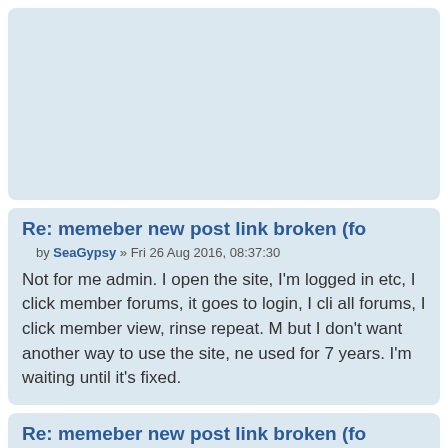[Figure (other): Top portion of a forum post block, cropped, light blue-gray background, no visible content]
Re: memeber new post link broken (fo
by SeaGypsy » Fri 26 Aug 2016, 08:37:30
Not for me admin. I open the site, I'm logged in etc, I click member forums, it goes to login, I cli all forums, I click member view, rinse repeat. M but I don't want another way to use the site, ne used for 7 years. I'm waiting until it's fixed.
Re: memeber new post link broken (fo
by admin » Fri 26 Aug 2016, 09:08:55
Ok this is another problem.. The short links dor